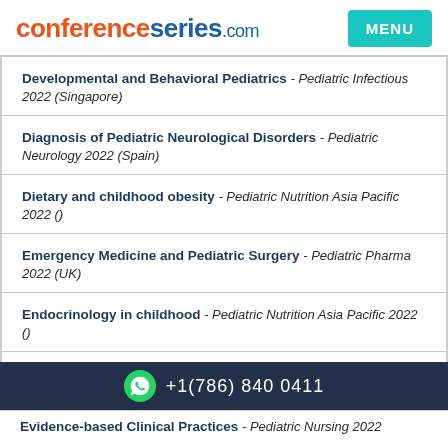conferenceseries.com
Developmental and Behavioral Pediatrics - Pediatric Infectious 2022 (Singapore)
Diagnosis of Pediatric Neurological Disorders - Pediatric Neurology 2022 (Spain)
Dietary and childhood obesity - Pediatric Nutrition Asia Pacific 2022 ()
Emergency Medicine and Pediatric Surgery - Pediatric Pharma 2022 (UK)
Endocrinology in childhood - Pediatric Nutrition Asia Pacific 2022 ()
Errors in Patient Safety - Pediatric Nursing 2022 (Canada)
Evidence-based Clinical Practices - Pediatric Nursing 2022 ...